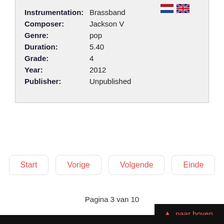Instrumentation: Brassband
Composer: Jackson V
Genre: pop
Duration: 5.40
Grade: 4
Year: 2012
Publisher: Unpublished
Start
Vorige
Volgende
Einde
Pagina 3 van 10
naar boven